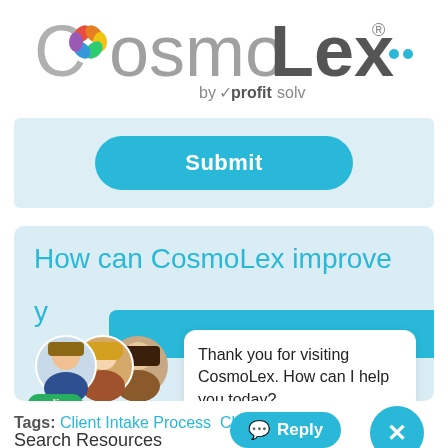[Figure (logo): CosmoLex logo with colorful geometric icon and 'by profitsolv' tagline, plus three cyan dots to the right]
[Figure (screenshot): Submit button - cyan/blue rounded rectangle button with white bold text 'Submit' on light blue background panel]
[Figure (screenshot): Chat widget showing: heading 'How can CosmoLex improve y...' in cyan, three overlapping circular avatar photos with a green 'online' badge, and a white chat bubble panel with text 'Thank you for visiting CosmoLex. How can I help you today?', with a cyan 'Reply' button and a cyan close X button]
Tags: Client Intake Process  Client T...
Search Resources